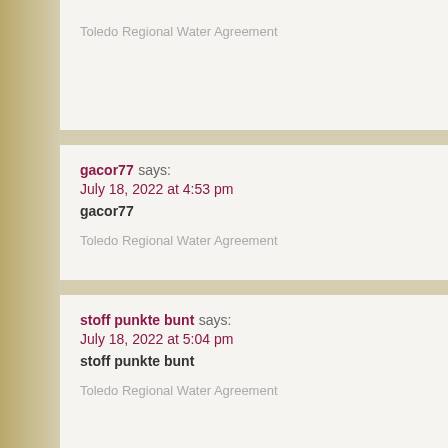Toledo Regional Water Agreement
gacor77 says:
July 18, 2022 at 4:53 pm
gacor77

Toledo Regional Water Agreement
stoff punkte bunt says:
July 18, 2022 at 5:04 pm
stoff punkte bunt

Toledo Regional Water Agreement
www.ccdeallplus.com says:
July 18, 2022 at 6:44 pm
http://www.ccdeallplus.com

Toledo Regional Water Agreement